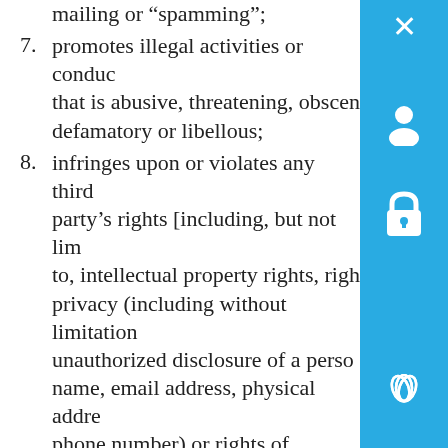mailing or “spamming”;
7. promotes illegal activities or conduct that is abusive, threatening, obscene, defamatory or libellous;
8. infringes upon or violates any third party’s rights [including, but not limited to, intellectual property rights, rights of privacy (including without limitation unauthorized disclosure of a person’s name, email address, physical address or phone number) or rights of publicity;
9. promotes an illegal or unauthorized copy of another person’s copyrighted work, such as providing pirated computer programs or links to them, providing information to circumven